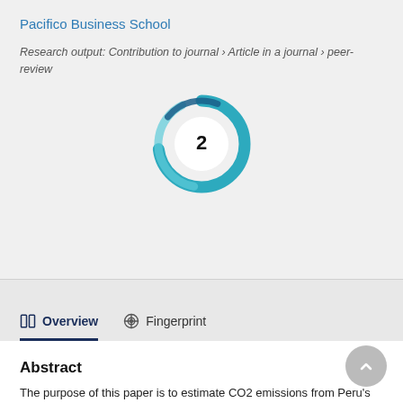Pacifico Business School
Research output: Contribution to journal › Article in a journal › peer-review
[Figure (donut-chart): Donut chart badge showing citation count of 2, rendered in teal/blue concentric swirl style]
Overview
Fingerprint
Abstract
The purpose of this paper is to estimate CO2 emissions from Peru's domestic air transport and how much they would be reduced if the network, currently centered around Lima's airport, was organized differently. Results show that, in 2014, Peruvian